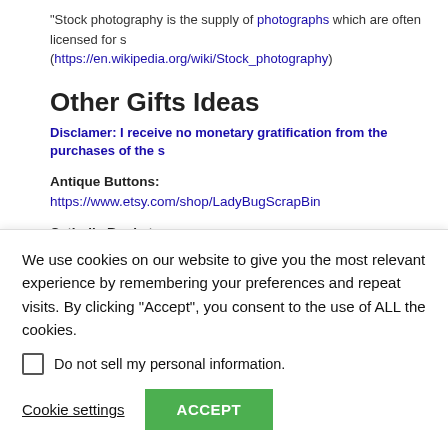“Stock photography is the supply of photographs which are often licensed for s… (https://en.wikipedia.org/wiki/Stock_photography)
Other Gifts Ideas
Disclamer: I receive no monetary gratification from the purchases of the s…
Antique Buttons: https://www.etsy.com/shop/LadyBugScrapBin
Catholic Bookstores:
ARY Publishing: http://www.arwyd.com/items/lithome.html
We use cookies on our website to give you the most relevant experience by remembering your preferences and repeat visits. By clicking “Accept”, you consent to the use of ALL the cookies.
Do not sell my personal information.
Cookie settings
ACCEPT